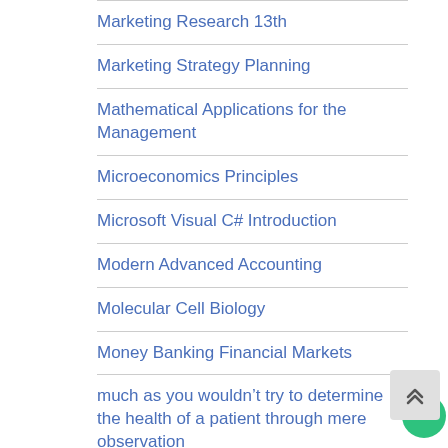Marketing Research 13th
Marketing Strategy Planning
Mathematical Applications for the Management
Microeconomics Principles
Microsoft Visual C# Introduction
Modern Advanced Accounting
Molecular Cell Biology
Money Banking Financial Markets
much as you wouldn’t try to determine the health of a patient through mere observation
Nursing
Nursing homework help